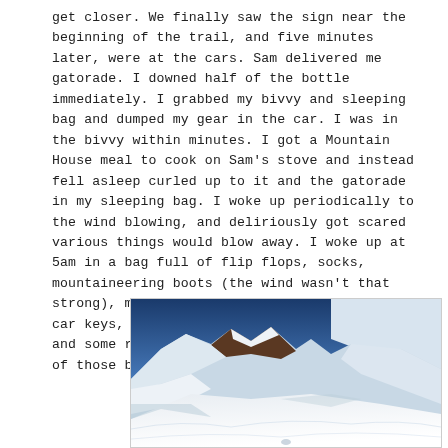get closer. We finally saw the sign near the beginning of the trail, and five minutes later, were at the cars. Sam delivered me gatorade. I downed half of the bottle immediately. I grabbed my bivvy and sleeping bag and dumped my gear in the car. I was in the bivvy within minutes. I got a Mountain House meal to cook on Sam's stove and instead fell asleep curled up to it and the gatorade in my sleeping bag. I woke up periodically to the wind blowing, and deliriously got scared various things would blow away. I woke up at 5am in a bag full of flip flops, socks, mountaineering boots (the wind wasn't that strong), my mountain house meal, gatorade, my car keys, my cell phone, a plethora of snacks, and some rocks. I imagine I had plans for all of those before I was unconscious.
[Figure (photo): A mountain landscape with snow-covered peaks, rocky dark ridges, and a bright sun in a blue sky. Snow-covered slopes fill the foreground and background.]